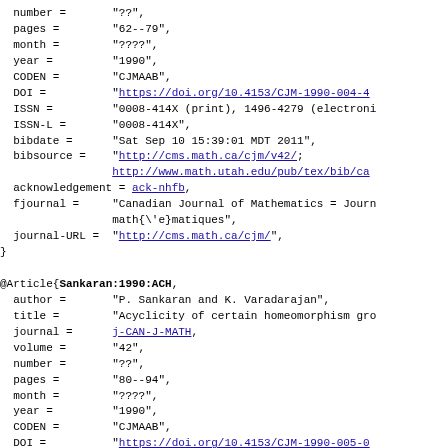BibTeX bibliography entries showing fields: pages, month, year, CODEN, DOI, ISSN, ISSN-L, bibdate, bibsource, acknowledgement, fjournal, journal-URL for one entry ending with }, then @Article{Sankaran:1990:ACH, with fields author, title, journal, volume, number, pages, month, year, CODEN, DOI, ISSN, ISSN-L, bibdate